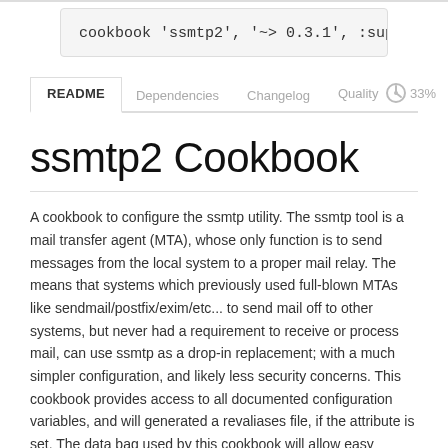cookbook 'ssmtp2', '~> 0.3.1', :supermarket
README | Dependencies | Changelog | Quality 33%
ssmtp2 Cookbook
A cookbook to configure the ssmtp utility. The ssmtp tool is a mail transfer agent (MTA), whose only function is to send messages from the local system to a proper mail relay. The means that systems which previously used full-blown MTAs like sendmail/postfix/exim/etc... to send mail off to other systems, but never had a requirement to receive or process mail, can use ssmtp as a drop-in replacement; with a much simpler configuration, and likely less security concerns. This cookbook provides access to all documented configuration variables, and will generated a revaliases file, if the attribute is set. The data bag used by this cookbook will allow easy swapping of upstream mail host configuration by simply changing the mail host attribute. This could be handy in multi-region AWS deployments where you are using Amazon's SES service and want to swap